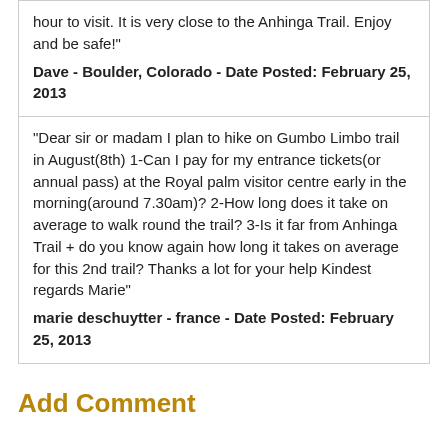hour to visit. It is very close to the Anhinga Trail. Enjoy and be safe!"
Dave - Boulder, Colorado - Date Posted: February 25, 2013
"Dear sir or madam I plan to hike on Gumbo Limbo trail in August(8th) 1-Can I pay for my entrance tickets(or annual pass) at the Royal palm visitor centre early in the morning(around 7.30am)? 2-How long does it take on average to walk round the trail? 3-Is it far from Anhinga Trail + do you know again how long it takes on average for this 2nd trail? Thanks a lot for your help Kindest regards Marie"
marie deschuytter  -  france  -  Date Posted: February 25, 2013
Add Comment
Your Name *